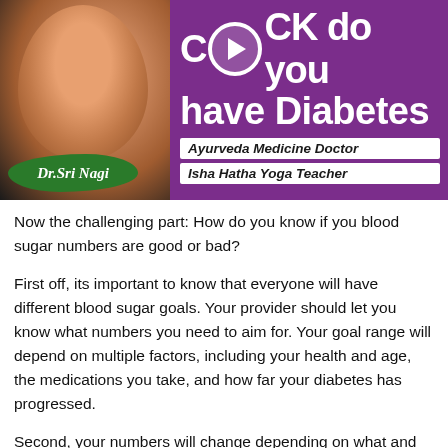[Figure (photo): Video thumbnail showing Dr. Sri Nagi, an Ayurveda Medicine Doctor and Isha Hatha Yoga Teacher, with text 'CHECK do you have Diabetes' on a purple background with a play button icon. Green leaf overlay with her name.]
Now the challenging part: How do you know if you blood sugar numbers are good or bad?
First off, its important to know that everyone will have different blood sugar goals. Your provider should let you know what numbers you need to aim for. Your goal range will depend on multiple factors, including your health and age, the medications you take, and how far your diabetes has progressed.
Second, your numbers will change depending on what and when you eat. Your numbers will rise after eating and will